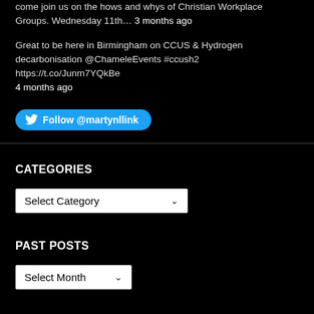come join us on the hows and whys of Christian Workplace Groups. Wednesday 11th… 3 months ago
Great to be here in Birmingham on CCUS & Hydrogen decarbonisation @ChameleEvents #ccush2 https://t.co/Junm7YQkBe 4 months ago
[Figure (other): Follow @martynlink button (Twitter/X blue button with bird icon)]
CATEGORIES
[Figure (other): Select Category dropdown]
PAST POSTS
[Figure (other): Select Month dropdown]